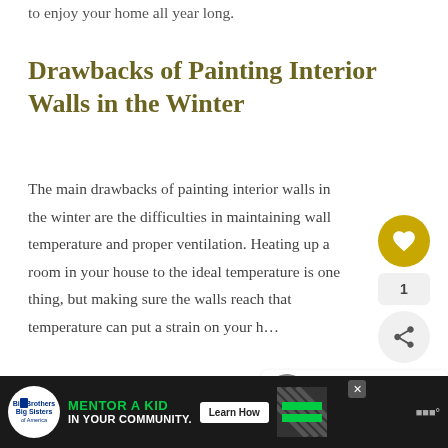to enjoy your home all year long.
Drawbacks of Painting Interior Walls in the Winter
The main drawbacks of painting interior walls in the winter are the difficulties in maintaining wall temperature and proper ventilation. Heating up a room in your house to the ideal temperature is one thing, but making sure the walls reach that temperature can put a strain on your h…
[Figure (other): Social interaction buttons: heart/like button (gold circle with heart icon), count showing 1, and share button (grey circle with share icon)]
[Figure (other): WHAT'S NEXT widget showing a thumbnail image and text 'Can a Toilet go on an Intern...']
[Figure (other): Advertisement banner for Big Brothers Big Sisters: 'MENTOR A KID IN YOUR COMMUNITY.' with Learn How button]